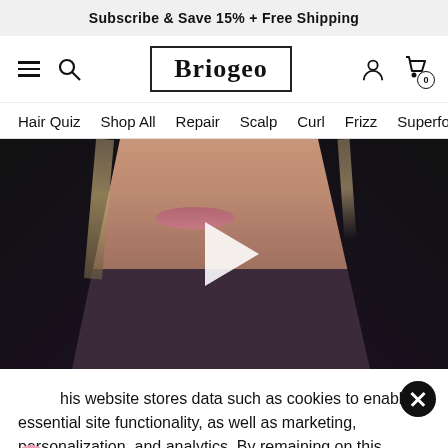Subscribe & Save 15% + Free Shipping
[Figure (logo): Briogeo brand logo with border box and navigation icons (hamburger menu, search, user account, shopping cart with badge 0)]
Hair Quiz  Shop All  Repair  Scalp  Curl  Frizz  Superfoods
[Figure (photo): Close-up video thumbnail of a woman with long dark hair with highlights, play button overlay in center]
his website stores data such as cookies to enable essential site functionality, as well as marketing, personalization, and analytics. By remaining on this website you indicate your consent. Privacy Policy